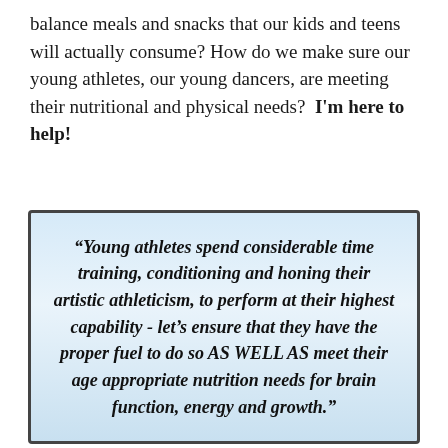balance meals and snacks that our kids and teens will actually consume? How do we make sure our young athletes, our young dancers, are meeting their nutritional and physical needs?  I'm here to help!
“Young athletes spend considerable time training, conditioning and honing their artistic athleticism, to perform at their highest capability - let’s ensure that they have the proper fuel to do so AS WELL AS meet their age appropriate nutrition needs for brain function, energy and growth.”